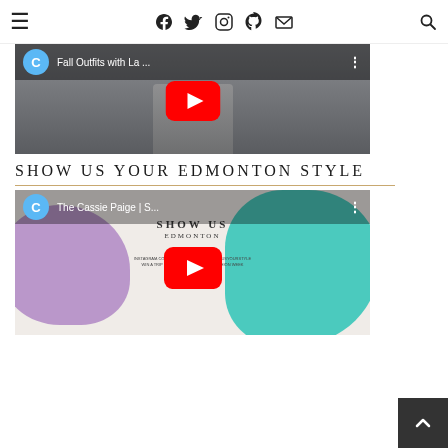≡  [social icons: Facebook, Twitter, Instagram, Pinterest, Email]  🔍
[Figure (screenshot): YouTube video embed showing 'Fall Outfits with La...' by The Cassie Paige channel. Blue circle avatar with 'C', red YouTube play button, partially visible person standing outdoors.]
SHOW US YOUR EDMONTON STYLE
[Figure (screenshot): YouTube video embed showing 'The Cassie Paige | S...' channel with blue circle avatar 'C'. Background shows colorful poster with purple and teal paint strokes reading 'SHOW US EDMONTON' with dates. Large red YouTube play button in center.]